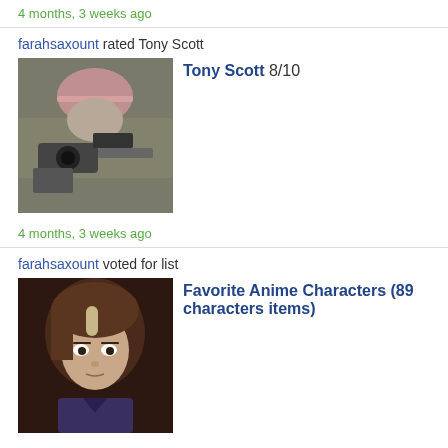4 months, 3 weeks ago
farahsaxount rated Tony Scott
[Figure (photo): Photo of Tony Scott with camera equipment, wearing a pink cap]
Tony Scott 8/10
4 months, 3 weeks ago
farahsaxount voted for list
[Figure (illustration): Anime character illustration - young male with dark hair]
Favorite Anime Characters (89 characters items)
5 months ago
farahsaxount added 2 items to their collection
[Figure (photo): Small thumbnail image 1 - orange/warm toned]
[Figure (photo): Small thumbnail image 2 - dark toned]